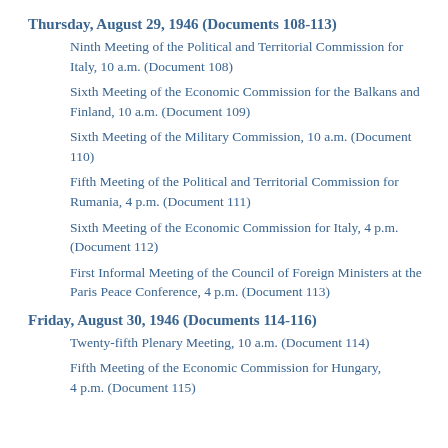Thursday, August 29, 1946 (Documents 108–113)
Ninth Meeting of the Political and Territorial Commission for Italy, 10 a.m. (Document 108)
Sixth Meeting of the Economic Commission for the Balkans and Finland, 10 a.m. (Document 109)
Sixth Meeting of the Military Commission, 10 a.m. (Document 110)
Fifth Meeting of the Political and Territorial Commission for Rumania, 4 p.m. (Document 111)
Sixth Meeting of the Economic Commission for Italy, 4 p.m. (Document 112)
First Informal Meeting of the Council of Foreign Ministers at the Paris Peace Conference, 4 p.m. (Document 113)
Friday, August 30, 1946 (Documents 114–116)
Twenty-fifth Plenary Meeting, 10 a.m. (Document 114)
Fifth Meeting of the Economic Commission for Hungary, 4 p.m. (Document 115)